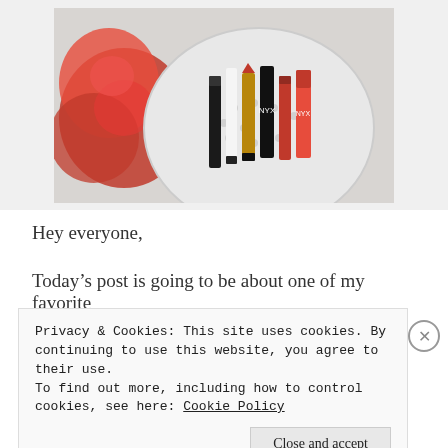[Figure (photo): Overhead photo of various red lipsticks and lip products arranged in a round white dish, with red roses in the background on a white surface]
Hey everyone,
Today’s post is going to be about one of my favorite
Privacy & Cookies: This site uses cookies. By continuing to use this website, you agree to their use.
To find out more, including how to control cookies, see here: Cookie Policy
Close and accept